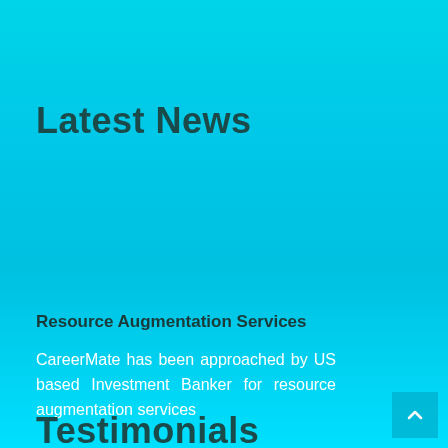Latest News
Resource Augmentation Services
CareerMate has been approached by US based Investment Banker for resource augmentation services
Testimonials